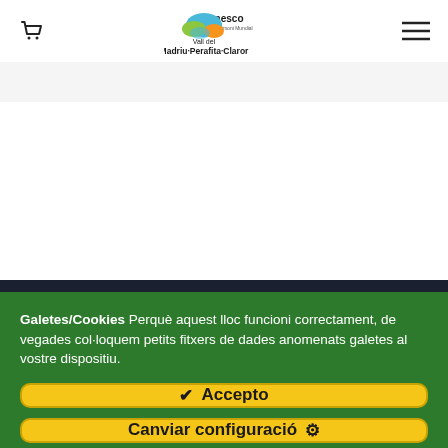Vall del Madriu·Perafita·Claror — UNESCO Patrimoni Mundial
Galetes/Cookies Perquè aquest lloc funcioni correctament, de vegades col·loquem petits fitxers de dades anomenats galetes al vostre dispositiu.
✔  Accepto
Canviar configuració ⚙